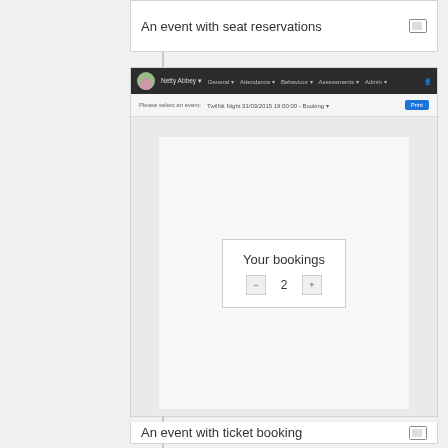An event with seat reservations
[Figure (screenshot): Screenshot of a school management application showing a 'Your bookings' panel with a quantity control set to 2, within a booking interface for a Twilfit Night event.]
An event with ticket booking
Parents and students require the following role options to make bookings for Student Events:
General > Events (On)
Events are used to allow users to reserve seats or places at school events,